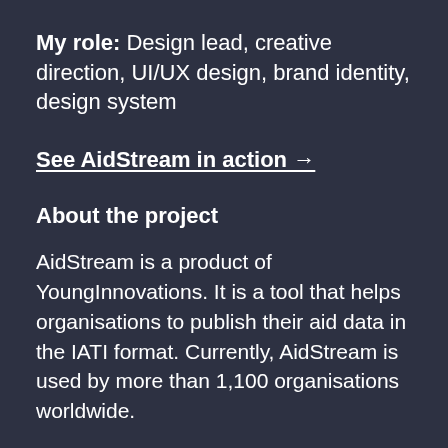My role: Design lead, creative direction, UI/UX design, brand identity, design system
See AidStream in action →
About the project
AidStream is a product of YoungInnovations. It is a tool that helps organisations to publish their aid data in the IATI format. Currently, AidStream is used by more than 1,100 organisations worldwide.
My contribution to the project
I have been involved in the development of this product since its inception. My primary responsibility has been to make the product